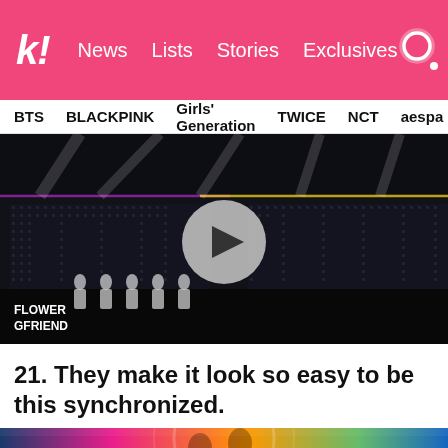k! News Lists Stories Exclusives
BTS BLACKPINK Girls' Generation TWICE NCT aespa
[Figure (screenshot): Video thumbnail showing GFRIEND performing on stage with synchronized dancing, dark concert venue with LED lights. Play button overlay. Text overlay: FLOWER GFRIEND]
21. They make it look so easy to be this synchronized.
[Figure (photo): Colorful performance image with blue, pink and orange lighting]